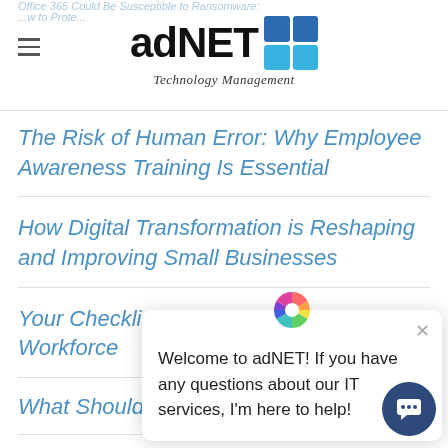adNET Technology Management
The Risk of Human Error: Why Employee Awareness Training Is Essential
How Digital Transformation is Reshaping and Improving Small Businesses
Your Checklist for Success with a Remote Workforce
What Should a Busine...
RECENT COMMENTS
[Figure (screenshot): Chat popup from adNET with message: Welcome to adNET! If you have any questions about our IT services, I'm here to help!]